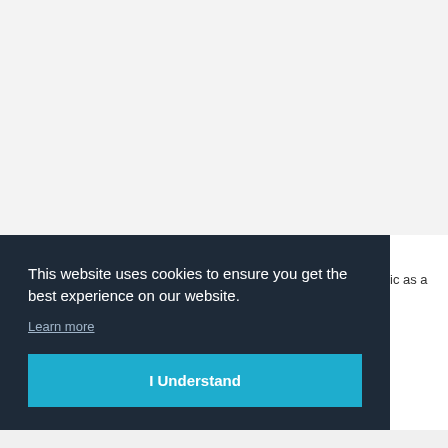[Figure (screenshot): Top portion of a webpage with a light gray background, content area partially visible]
This website uses cookies to ensure you get the best experience on our website.
Learn more
I Understand
ic as a